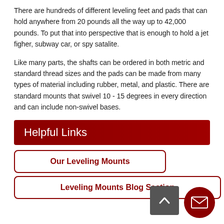There are hundreds of different leveling feet and pads that can hold anywhere from 20 pounds all the way up to 42,000 pounds. To put that into perspective that is enough to hold a jet figher, subway car, or spy satalite.
Like many parts, the shafts can be ordered in both metric and standard thread sizes and the pads can be made from many types of material including rubber, metal, and plastic. There are standard mounts that swivel 10 - 15 degrees in every direction and can include non-swivel bases.
Helpful Links
Our Leveling Mounts
Leveling Mounts Blog Section